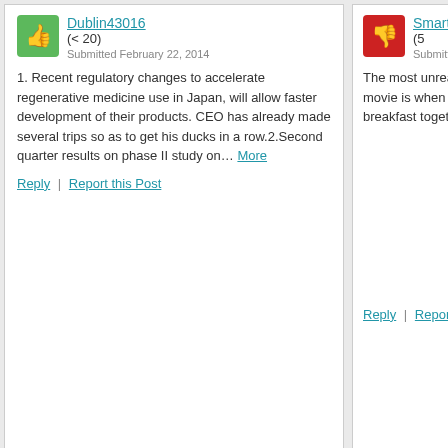Dublin43016 (< 20) Submitted February 22, 2014
1. Recent regulatory changes to accelerate regenerative medicine use in Japan, will allow faster development of their products. CEO has already made several trips so as to get his ducks in a row.2.Second quarter results on phase II study on… More
Reply | Report this Post
SmartAce (5... Submitted Octo...
The most unrealistic t... movie is when an enti... breakfast together on ...
Reply | Report this Po...
Recent Community Commentary
This website uses cookies to deliver our services and to analyze traffic. We also share information about your use of our site with advertising and other partners. Privacy Policy
Got it
Cookie Settings